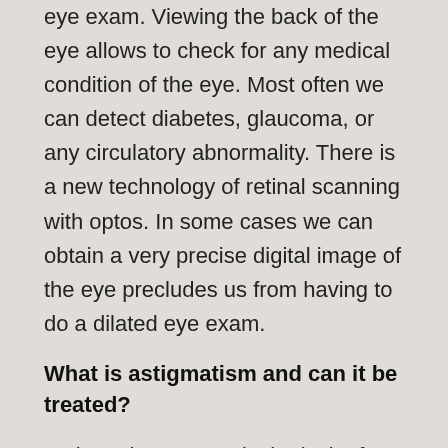eye exam. Viewing the back of the eye allows to check for any medical condition of the eye. Most often we can detect diabetes, glaucoma, or any circulatory abnormality. There is a new technology of retinal scanning with optos. In some cases we can obtain a very precise digital image of the eye precludes us from having to do a dilated eye exam.
What is astigmatism and can it be treated?
Astigmatism means is the lack of roundness of the cornea. The cornea is the front of the eye, whereas the cataract lives behind the pupil. If they have astigmatism they will still need glasses. Glasses will correct it but there are special surgery techniques that will get rid of the astigmatism.